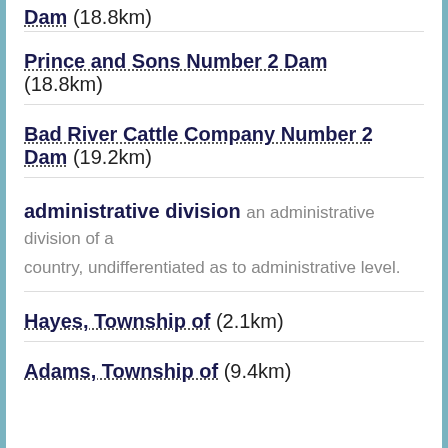Dam (18.8km)
Prince and Sons Number 2 Dam (18.8km)
Bad River Cattle Company Number 2 Dam (19.2km)
administrative division an administrative division of a country, undifferentiated as to administrative level.
Hayes, Township of (2.1km)
Adams, Township of (9.4km)